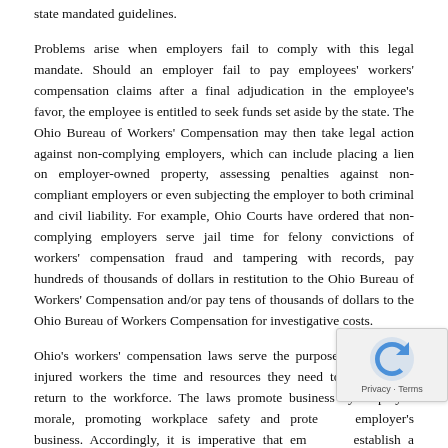state mandated guidelines.
Problems arise when employers fail to comply with this legal mandate. Should an employer fail to pay employees' workers' compensation claims after a final adjudication in the employee's favor, the employee is entitled to seek funds set aside by the state. The Ohio Bureau of Workers' Compensation may then take legal action against non-complying employers, which can include placing a lien on employer-owned property, assessing penalties against non-compliant employers or even subjecting the employer to both criminal and civil liability. For example, Ohio Courts have ordered that non-complying employers serve jail time for felony convictions of workers' compensation fraud and tampering with records, pay hundreds of thousands of dollars in restitution to the Ohio Bureau of Workers' Compensation and/or pay tens of thousands of dollars to the Ohio Bureau of Workers Compensation for investigative costs.
Ohio's workers' compensation laws serve the purpose of providing injured workers the time and resources they need to recover and return to the workforce. The laws promote business by employee morale, promoting workplace safety and protecting employer's business. Accordingly, it is imperative that employers establish a workers' compensation insurance program as they...